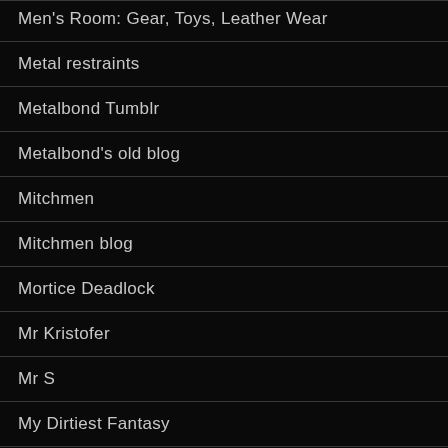Men's Room: Gear, Toys, Leather Wear
Metal restraints
Metalbond Tumblr
Metalbond's old blog
Mitchmen
Mitchmen blog
Mortice Deadlock
Mr Kristofer
Mr S
My Dirtiest Fantasy
My Friends Feet
Naked Kombat
Nasty Daddy